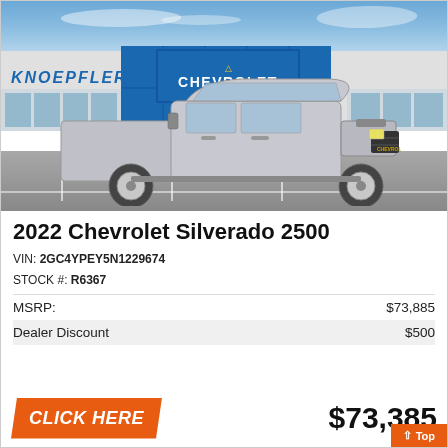[Figure (photo): Chevrolet Silverado 2500 silver truck parked in front of Knoepfler Chevrolet dealership]
2022 Chevrolet Silverado 2500
VIN: 2GC4YPEY5N1229674
STOCK #: R6367
| MSRP: | $73,885 |
| Dealer Discount | $500 |
CLICK HERE
$73,385